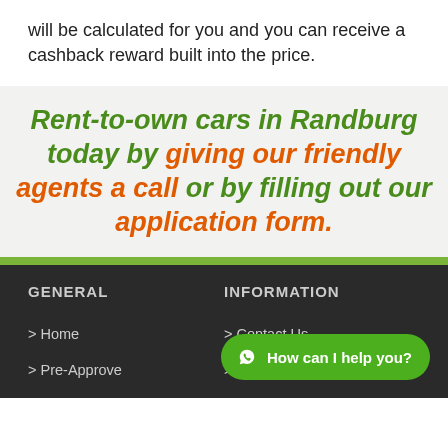will be calculated for you and you can receive a cashback reward built into the price.
Rent-to-own cars in Randburg today by giving our friendly agents a call or by filling out our application form.
GENERAL
INFORMATION
> Home
> Contact Us
> Pre-Approve
> Testimonials
How can I help you?